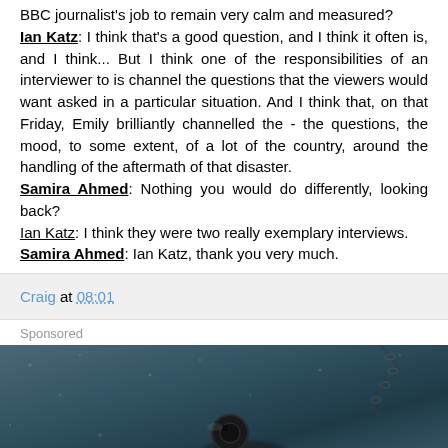BBC journalist's job to remain very calm and measured? Ian Katz: I think that's a good question, and I think it often is, and I think... But I think one of the responsibilities of an interviewer to is channel the questions that the viewers would want asked in a particular situation. And I think that, on that Friday, Emily brilliantly channelled the - the questions, the mood, to some extent, of a lot of the country, around the handling of the aftermath of that disaster. Samira Ahmed: Nothing you would do differently, looking back? Ian Katz: I think they were two really exemplary interviews. Samira Ahmed: Ian Katz, thank you very much.
Craig at 08:01
Sponsored
[Figure (photo): Advertisement image showing what appears to be a dark-colored accessory or jewelry item (possibly a necklace or watch) against a dark teal/slate textured background, with a chain visible in the upper right.]